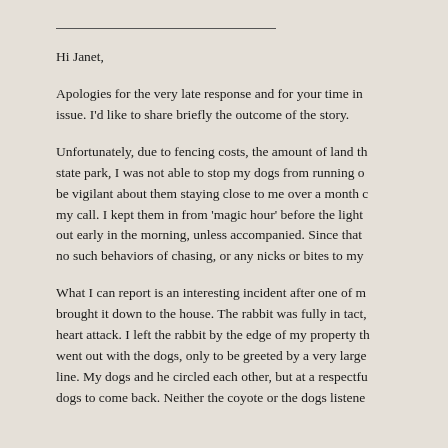Hi Janet,
Apologies for the very late response and for your time in issue. I'd like to share briefly the outcome of the story.
Unfortunately, due to fencing costs, the amount of land th state park, I was not able to stop my dogs from running o be vigilant about them staying close to me over a month c my call. I kept them in from 'magic hour' before the light out early in the morning, unless accompanied. Since that no such behaviors of chasing, or any nicks or bites to my
What I can report is an interesting incident after one of m brought it down to the house. The rabbit was fully in tact, heart attack. I left the rabbit by the edge of my property th went out with the dogs, only to be greeted by a very large line. My dogs and he circled each other, but at a respectfu dogs to come back. Neither the coyote or the dogs listene